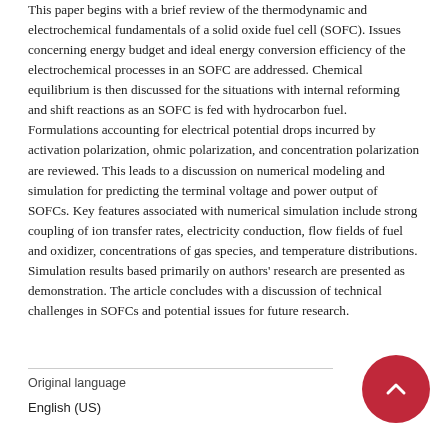This paper begins with a brief review of the thermodynamic and electrochemical fundamentals of a solid oxide fuel cell (SOFC). Issues concerning energy budget and ideal energy conversion efficiency of the electrochemical processes in an SOFC are addressed. Chemical equilibrium is then discussed for the situations with internal reforming and shift reactions as an SOFC is fed with hydrocarbon fuel. Formulations accounting for electrical potential drops incurred by activation polarization, ohmic polarization, and concentration polarization are reviewed. This leads to a discussion on numerical modeling and simulation for predicting the terminal voltage and power output of SOFCs. Key features associated with numerical simulation include strong coupling of ion transfer rates, electricity conduction, flow fields of fuel and oxidizer, concentrations of gas species, and temperature distributions. Simulation results based primarily on authors' research are presented as demonstration. The article concludes with a discussion of technical challenges in SOFCs and potential issues for future research.
Original language
English (US)